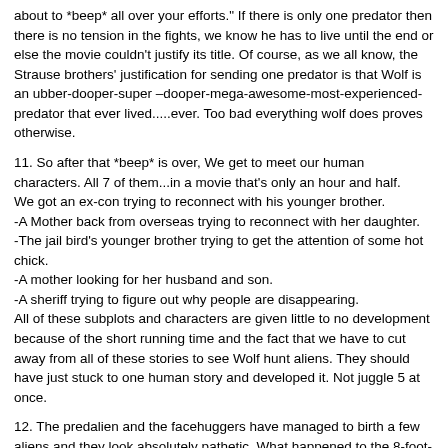about to *beep* all over your efforts." If there is only one predator then there is no tension in the fights, we know he has to live until the end or else the movie couldn't justify its title. Of course, as we all know, the Strause brothers' justification for sending one predator is that Wolf is an ubber-dooper-super –dooper-mega-awesome-most-experienced-predator that ever lived.....ever. Too bad everything wolf does proves otherwise.
11. So after that *beep* is over, We get to meet our human characters. All 7 of them...in a movie that's only an hour and half.
We got an ex-con trying to reconnect with his younger brother.
-A Mother back from overseas trying to reconnect with her daughter.
-The jail bird's younger brother trying to get the attention of some hot chick.
-A mother looking for her husband and son.
-A sheriff trying to figure out why people are disappearing.
All of these subplots and characters are given little to no development because of the short running time and the fact that we have to cut away from all of these stories to see Wolf hunt aliens. They should have just stuck to one human story and developed it. Not juggle 5 at once.
12. The predalien and the facehuggers have managed to birth a few aliens and they look absolutely pathetic. What happened to the 8-foot-tall Giger beast that towered over everyone? Now a homeless woman is looking down on one like a dog. Wolf arrives on earth and crashes into a lake. He rises from the water just like the predator in the first movie. What a rip off.
13. It's at this point you realize something about the night time scenes